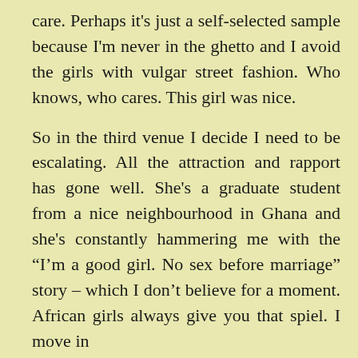care. Perhaps it's just a self-selected sample because I'm never in the ghetto and I avoid the girls with vulgar street fashion. Who knows, who cares. This girl was nice.
So in the third venue I decide I need to be escalating. All the attraction and rapport has gone well. She's a graduate student from a nice neighbourhood in Ghana and she's constantly hammering me with the “I'm a good girl. No sex before marriage” story – which I don’t believe for a moment. African girls always give you that spiel. I move in